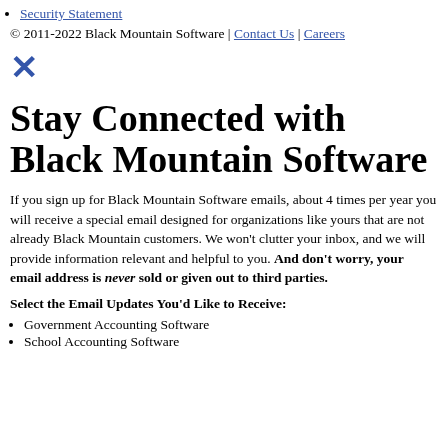Security Statement
© 2011-2022 Black Mountain Software | Contact Us | Careers
[Figure (other): Blue X close button icon]
Stay Connected with Black Mountain Software
If you sign up for Black Mountain Software emails, about 4 times per year you will receive a special email designed for organizations like yours that are not already Black Mountain customers. We won't clutter your inbox, and we will provide information relevant and helpful to you. And don't worry, your email address is never sold or given out to third parties.
Select the Email Updates You'd Like to Receive:
Government Accounting Software
School Accounting Software